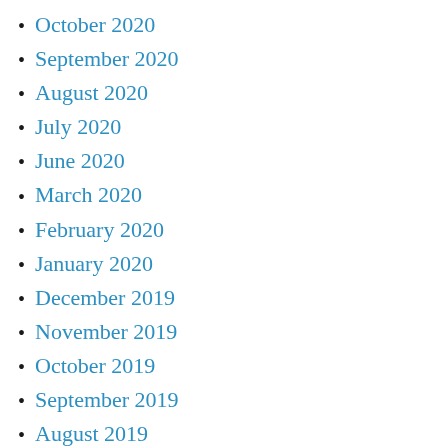October 2020
September 2020
August 2020
July 2020
June 2020
March 2020
February 2020
January 2020
December 2019
November 2019
October 2019
September 2019
August 2019
July 2019
June 2019
May 2019